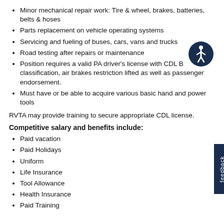Minor mechanical repair work: Tire & wheel, brakes, batteries, belts & hoses
Parts replacement on vehicle operating systems
Servicing and fueling of buses, cars, vans and trucks
Road testing after repairs or maintenance
Position requires a valid PA driver's license with CDL B classification, air brakes restriction lifted as well as passenger endorsement.
Must have or be able to acquire various basic hand and power tools
RVTA may provide training to secure appropriate CDL license.
Competitive salary and benefits include:
Paid vacation
Paid Holidays
Uniform
Life Insurance
Tool Allowance
Health Insurance
Paid Training
[Figure (illustration): Accessibility icon: dark navy circle with white stick figure person in the center, representing accessibility features]